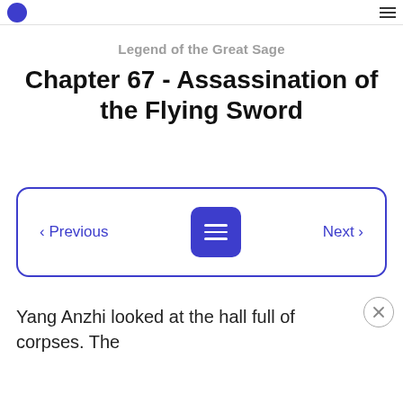Legend of the Great Sage — navigation header
Legend of the Great Sage
Chapter 67 - Assassination of the Flying Sword
[Figure (other): Navigation bar with Previous, menu icon button, and Next buttons inside a blue-bordered rounded rectangle]
Yang Anzhi looked at the hall full of corpses. The